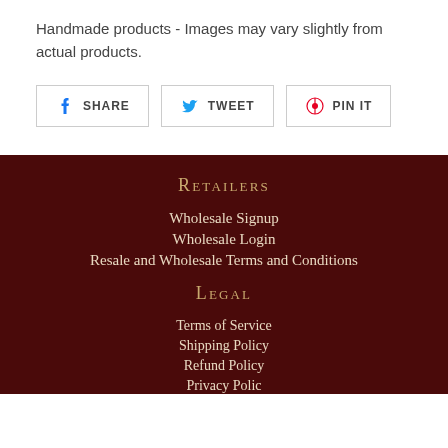Handmade products - Images may vary slightly from actual products.
[Figure (other): Social share buttons: Facebook Share, Twitter Tweet, Pinterest Pin It]
Retailers
Wholesale Signup
Wholesale Login
Resale and Wholesale Terms and Conditions
Legal
Terms of Service
Shipping Policy
Refund Policy
Privacy Policy